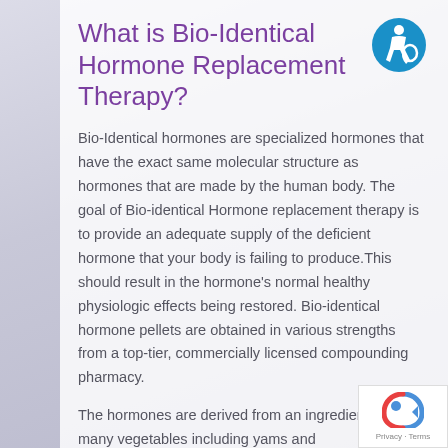What is Bio-Identical Hormone Replacement Therapy?
Bio-Identical hormones are specialized hormones that have the exact same molecular structure as hormones that are made by the human body. The goal of Bio-identical Hormone replacement therapy is to provide an adequate supply of the deficient hormone that your body is failing to produce.This should result in the hormone's normal healthy physiologic effects being restored. Bio-identical hormone pellets are obtained in various strengths from a top-tier, commercially licensed compounding pharmacy.
The hormones are derived from an ingredient found in many vegetables including yams and
[Figure (logo): Accessibility icon: blue circle with white wheelchair user symbol]
[Figure (logo): reCAPTCHA badge with Privacy and Terms links]